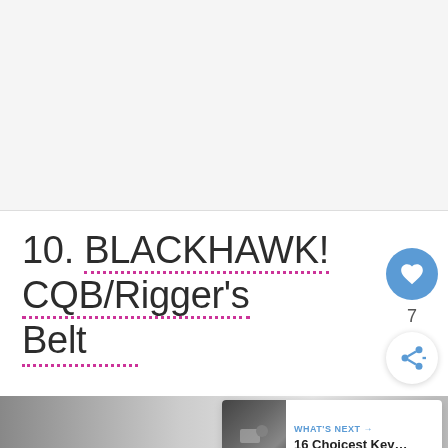[Figure (photo): Top image area - blank/white placeholder for a product photo]
10. BLACKHAWK! CQB/Rigger's Belt
7
[Figure (screenshot): WHAT'S NEXT → 16 Choicest Key... promotional widget at bottom right with thumbnail image]